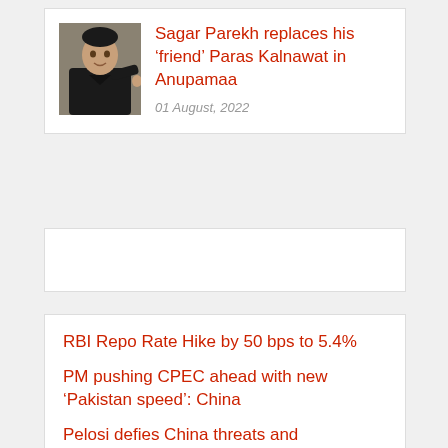[Figure (photo): Photo of a young man in a black outfit posing]
Sagar Parekh replaces his ‘friend’ Paras Kalnawat in Anupamaa
01 August, 2022
(empty card / advertisement placeholder)
RBI Repo Rate Hike by 50 bps to 5.4%
PM pushing CPEC ahead with new ‘Pakistan speed’: China
Pelosi defies China threats and